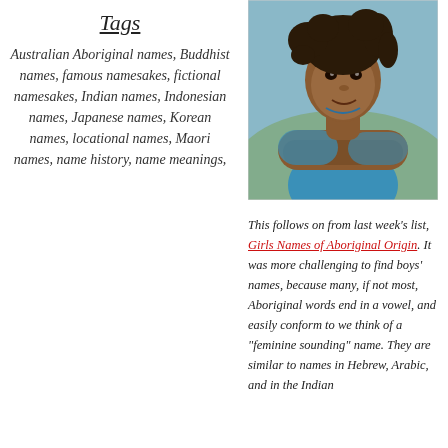Tags
Australian Aboriginal names, Buddhist names, famous namesakes, fictional namesakes, Indian names, Indonesian names, Japanese names, Korean names, locational names, Maori names, name history, name meanings,
[Figure (photo): A young Aboriginal child with curly windblown hair, wearing a blue shirt, arms crossed, looking at the camera against a blurred outdoor background.]
This follows on from last week's list, Girls Names of Aboriginal Origin. It was more challenging to find boys' names, because many, if not most, Aboriginal words end in a vowel, and easily conform to we think of a "feminine sounding" name. They are similar to names in Hebrew, Arabic, and in the Indian